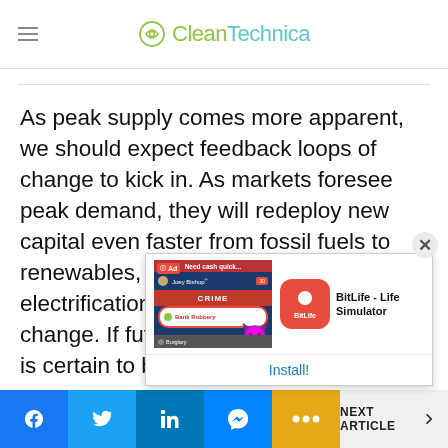CleanTechnica
As peak supply comes more apparent, we should expect feedback loops of change to kick in. As markets foresee peak demand, they will redeploy new capital even faster from fossil fuels to renewables, efficiency, EVs, and other electrification. That in turn speeds up change. If future demand for fossil fuels is certain to be lower than demand
[Figure (screenshot): Mobile advertisement overlay: BitLife - Life Simulator app install ad with game screenshot showing bank robbery scene and app icon]
Facebook | Twitter | LinkedIn | Messenger | More | NEXT ARTICLE >